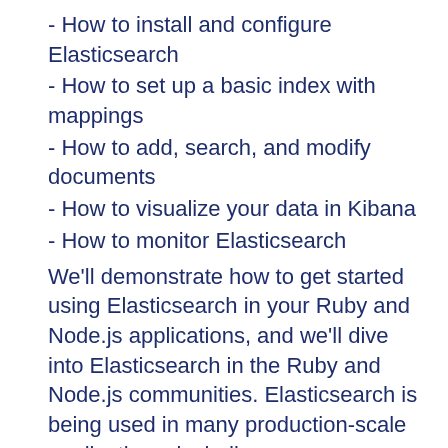- How to install and configure Elasticsearch
- How to set up a basic index with mappings
- How to add, search, and modify documents
- How to visualize your data in Kibana
- How to monitor Elasticsearch
We'll demonstrate how to get started using Elasticsearch in your Ruby and Node.js applications, and we'll dive into Elasticsearch in the Ruby and Node.js communities. Elasticsearch is being used in many production-scale applications, including:
- New Relic
- Pusher
- Vimeo
- Eventbrite
- ICS
At the heart of big data is the notion of